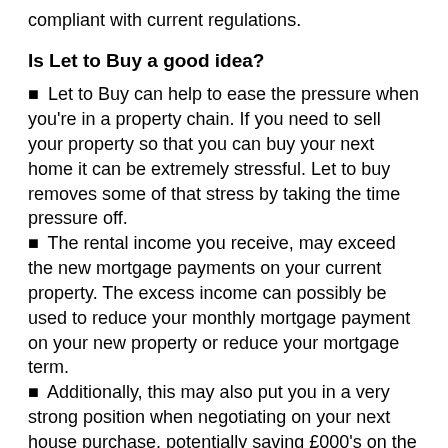compliant with current regulations.
Is Let to Buy a good idea?
Let to Buy can help to ease the pressure when you're in a property chain. If you need to sell your property so that you can buy your next home it can be extremely stressful. Let to buy removes some of that stress by taking the time pressure off.
The rental income you receive, may exceed the new mortgage payments on your current property. The excess income can possibly be used to reduce your monthly mortgage payment on your new property or reduce your mortgage term.
Additionally, this may also put you in a very strong position when negotiating on your next house purchase, potentially saving £000's on the purchase price of your new property as you are no longer involved in a chain.
You may be able to move sooner, as you are no longer needing to find a suitable buyer.
What are the downsides to Let to Buy?
There's no getting around the fact you'll be responsible